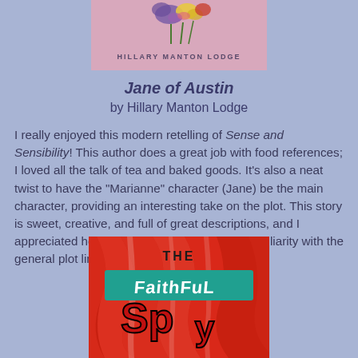[Figure (illustration): Book cover for 'Jane of Austin' by Hillary Manton Lodge — pink/mauve background with colorful flower illustration and author name in small caps]
Jane of Austin
by Hillary Manton Lodge
I really enjoyed this modern retelling of Sense and Sensibility! This author does a great job with food references; I loved all the talk of tea and baked goods. It's also a neat twist to have the "Marianne" character (Jane) be the main character, providing an interesting take on the plot. This story is sweet, creative, and full of great descriptions, and I appreciated how it pulled me in despite my familiarity with the general plot line.
[Figure (illustration): Book cover for 'The Faithful Spy' — bold graphic design with red flames, black and white text, teal stylized lettering]